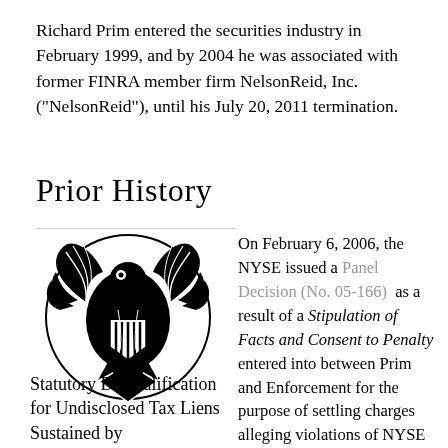Richard Prim entered the securities industry in February 1999, and by 2004 he was associated with former FINRA member firm NelsonReid, Inc. ("NelsonReid"), until his July 20, 2011 termination.
Prior History
[Figure (logo): IRS eagle logo / Statutory Disqualification emblem — black line art of an eagle holding scales and wheat]
Statutory Disqualification for Undisclosed Tax Liens Sustained by
On February 6, 2006, the NYSE issued a Panel Decision (No. 05-166) as a result of a Stipulation of Facts and Consent to Penalty entered into between Prim and Enforcement for the purpose of settling charges alleging violations of NYSE Rule 346(b) based upon Prim's, on one or more